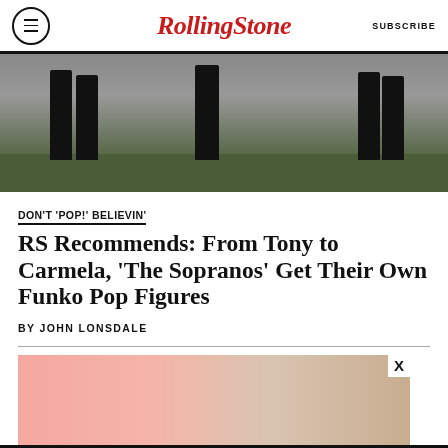RollingStone | SUBSCRIBE
[Figure (photo): Three figures in black suits standing outdoors on grass, cropped at torso/leg level]
DON'T 'POP!' BELIEVIN'
RS Recommends: From Tony to Carmela, ‘The Sopranos’ Get Their Own Funko Pop Figures
BY JOHN LONSDALE
[Figure (photo): Partial product image showing pink and beige tones, partially visible]
[Figure (photo): Advertisement banner: BOGO BLINK MINIS / GET YOURS NOW with SPY logo]